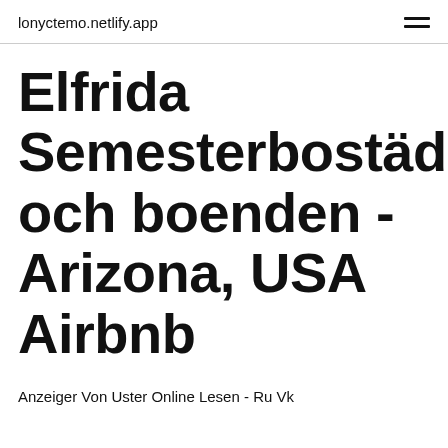lonyctemo.netlify.app
Elfrida Semesterbostäder och boenden - Arizona, USA Airbnb
Anzeiger Von Uster Online Lesen - Ru Vk